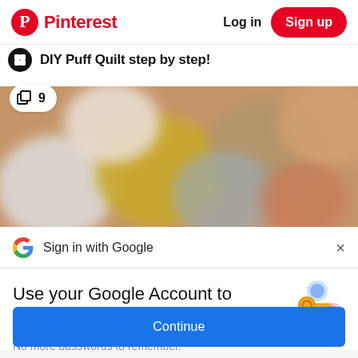Pinterest  Log in  Sign up
DIY Puff Quilt step by step!
[Figure (photo): Close-up photo of colorful fabric puff quilt pieces in yellow, white, and gray tones. A white pill-shaped badge with a copy icon and the number 9 is overlaid in the top-left corner.]
Sign in with Google
Use your Google Account to sign in to Pinterest
No more passwords to remember. Signing in is fast, simple and secure.
[Figure (illustration): Google passkey/key illustration with a golden key and colorful circular icons representing Google services.]
Continue